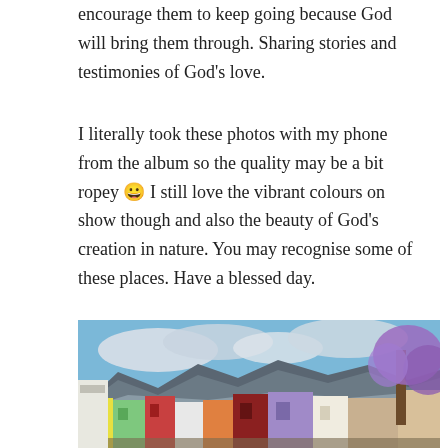encourage them to keep going because God will bring them through. Sharing stories and testimonies of God's love.
I literally took these photos with my phone from the album so the quality may be a bit ropey 😀 I still love the vibrant colours on show though and also the beauty of God's creation in nature. You may recognise some of these places. Have a blessed day.
[Figure (photo): Photograph of colourful Bo-Kaap houses in Cape Town with Table Mountain in the background under a cloudy sky, and a jacaranda tree on the right]